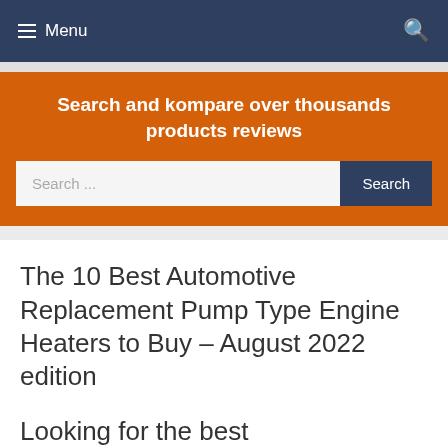Menu
Search and kompare over thousands products reviews
Search ...
The 10 Best Automotive Replacement Pump Type Engine Heaters to Buy – August 2022 edition
Looking for the best Automotive Replacement